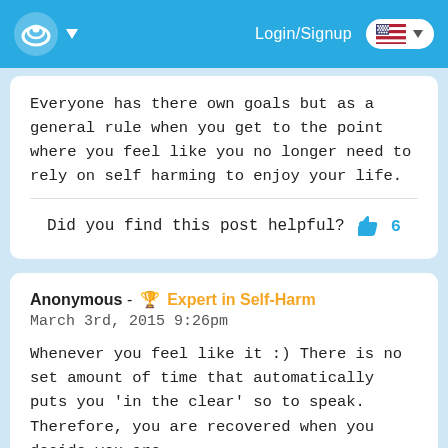Login/Signup
Everyone has there own goals but as a general rule when you get to the point where you feel like you no longer need to rely on self harming to enjoy your life.
Did you find this post helpful? 6
Anonymous - Expert in Self-Harm
March 3rd, 2015 9:26pm
Whenever you feel like it :) There is no set amount of time that automatically puts you 'in the clear' so to speak. Therefore, you are recovered when you decide you are